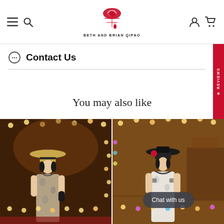BETH AND BRIAN QIPAO — navigation header with menu, search, account, and cart icons
Contact Us
You may also like
[Figure (photo): Woman wearing a floral qipao dress with a wide-brim hat, standing in front of a warm-lit venue with string lights. Dark lace gloves, dark background.]
[Figure (photo): Woman wearing a white short-sleeve qipao dress with floral details and a wide-brim black hat, standing in front of a warm-lit venue with string lights. Chat with us button overlaid.]